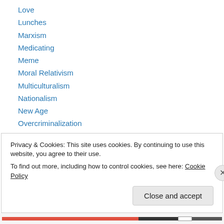Love
Lunches
Marxism
Medicating
Meme
Moral Relativism
Multiculturalism
Nationalism
New Age
Overcriminalization
Overreaction
Parental Rights
Pedophilia
Privacy & Cookies: This site uses cookies. By continuing to use this website, you agree to their use.
To find out more, including how to control cookies, see here: Cookie Policy
Close and accept